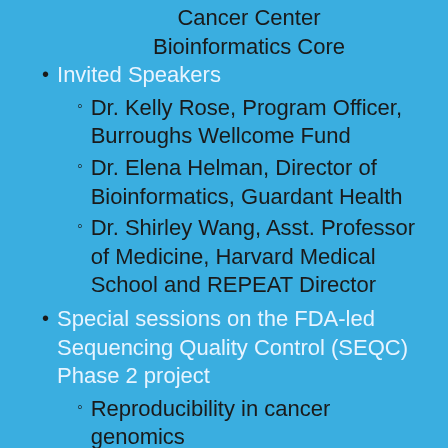Cancer Center Bioinformatics Core
Invited Speakers
Dr. Kelly Rose, Program Officer, Burroughs Wellcome Fund
Dr. Elena Helman, Director of Bioinformatics, Guardant Health
Dr. Shirley Wang, Asst. Professor of Medicine, Harvard Medical School and REPEAT Director
Special sessions on the FDA-led Sequencing Quality Control (SEQC) Phase 2 project
Reproducibility in cancer genomics
Best practices for analyzing